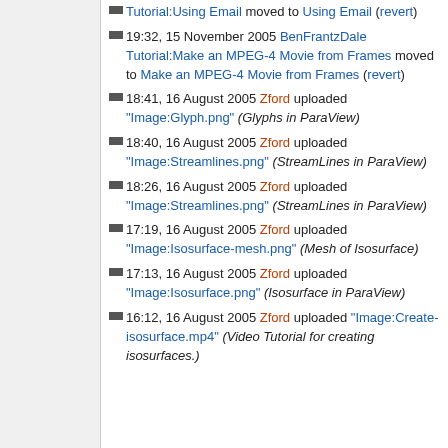Tutorial:Using Email moved to Using Email (revert)
19:32, 15 November 2005 BenFrantzDale Tutorial:Make an MPEG-4 Movie from Frames moved to Make an MPEG-4 Movie from Frames (revert)
18:41, 16 August 2005 Zford uploaded "Image:Glyph.png" (Glyphs in ParaView)
18:40, 16 August 2005 Zford uploaded "Image:Streamlines.png" (StreamLines in ParaView)
18:26, 16 August 2005 Zford uploaded "Image:Streamlines.png" (StreamLines in ParaView)
17:19, 16 August 2005 Zford uploaded "Image:Isosurface-mesh.png" (Mesh of Isosurface)
17:13, 16 August 2005 Zford uploaded "Image:Isosurface.png" (Isosurface in ParaView)
16:12, 16 August 2005 Zford uploaded "Image:Create-isosurface.mp4" (Video Tutorial for creating isosurfaces.)